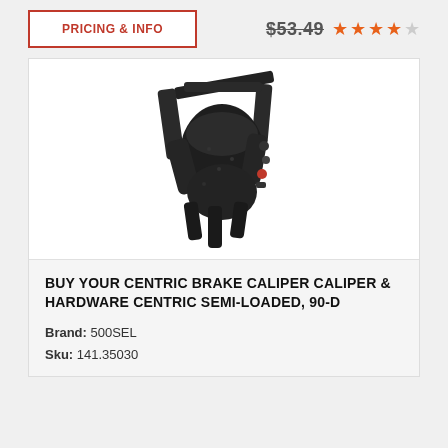PRICING & INFO
$53.49 ★★★★☆
[Figure (photo): Black brake caliper with hardware, Centric semi-loaded model, shown on white background]
BUY YOUR CENTRIC BRAKE CALIPER CALIPER & HARDWARE CENTRIC SEMI-LOADED, 90-D
Brand: 500SEL
Sku: 141.35030